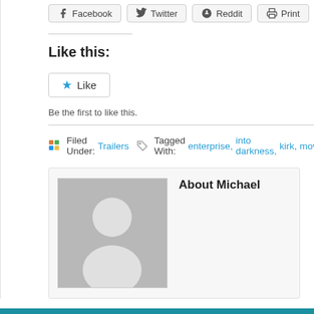[Figure (other): Social share buttons: Facebook, Twitter, Reddit, Print]
Like this:
[Figure (other): Like button with star icon]
Be the first to like this.
Filed Under: Trailers  Tagged With: enterprise, into darkness, kirk, movi...
About Michael
[Figure (photo): Default avatar placeholder image for Michael]
^ Return to top of page
Saturday, August 20, 2022